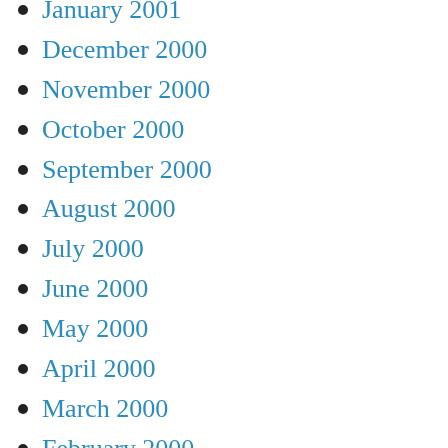January 2001
December 2000
November 2000
October 2000
September 2000
August 2000
July 2000
June 2000
May 2000
April 2000
March 2000
February 2000
January 2000
December 1999
November 1999
October 1999
September 1999